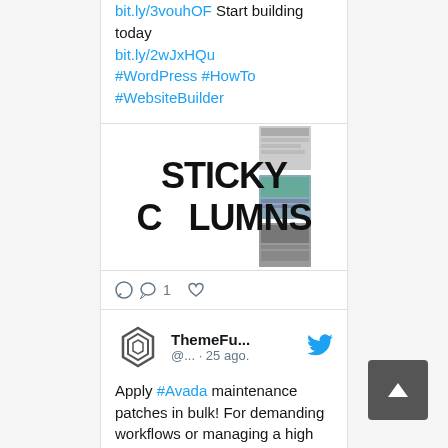bit.ly/3vouhOF Start building today bit.ly/2wJxHQu #WordPress #HowTo #WebsiteBuilder
[Figure (screenshot): Image card showing 'STICKY COLUMNS' text with website screenshots overlaid in the center]
1 (comment icon) (heart icon)
ThemeFu... @... · 25 ago.
Apply #Avada maintenance patches in bulk! For demanding workflows or managing a high number of websites, you can apply